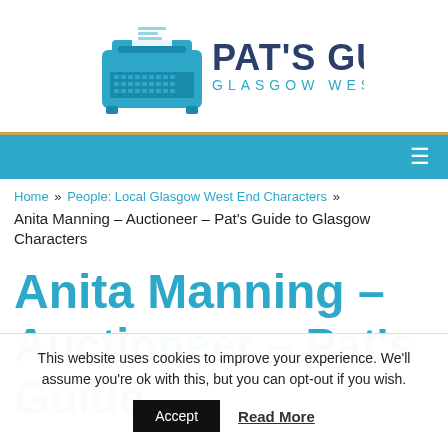[Figure (logo): Pat's Guide Glasgow West End logo — typewriter icon in teal/blue with bold text PAT'S GUIDE and smaller spaced text GLASGOW WEST END]
≡ (navigation menu icon)
Home » People: Local Glasgow West End Characters » Anita Manning – Auctioneer – Pat's Guide to Glasgow Characters
Anita Manning – Auctioneer – Pat's Guide
This website uses cookies to improve your experience. We'll assume you're ok with this, but you can opt-out if you wish.
Accept   Read More